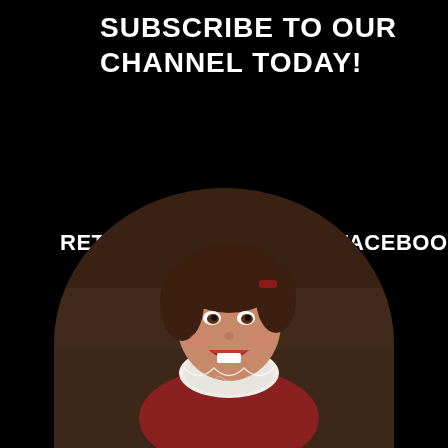SUBSCRIBE TO OUR CHANNEL TODAY!
RETRO MOVIE LOVE ON FACEBOOK!
[Figure (photo): A child with brown hair, mouth open as if excited or singing, wearing a white lace-collared outfit with red accents, shown in a semi-circular cropped photo with dark background. Circular/arch crop at the bottom of the page.]